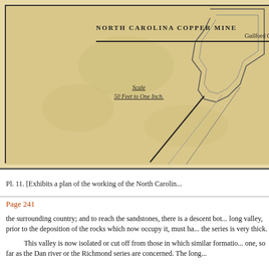[Figure (map): Partial plan map of the North Carolina Copper Mine, Guilford Co. N.C., with mine workings shown in upper right. Scale: 50 Feet to One Inch. Map has aged yellowish background with black border lines and tunnel/shaft outlines in upper right corner.]
Pl. 11. [Exhibits a plan of the working of the North Carolin...
Page 241
the surrounding country; and to reach the sandstones, there is a descent bot... long valley, prior to the deposition of the rocks which now occupy it, must ha... the series is very thick.
This valley is now isolated or cut off from those in which similar formatio... one, so far as the Dan river or the Richmond series are concerned. The long...